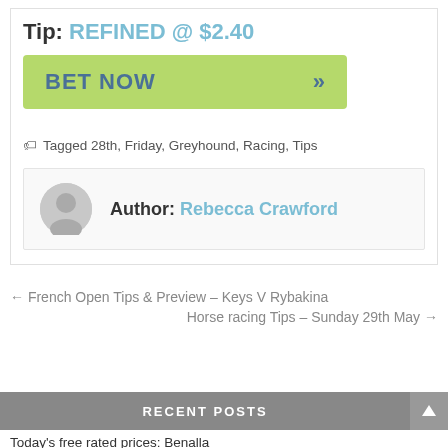Tip: REFINED @ $2.40
[Figure (other): Green BET NOW button with double right-arrow chevron]
Tagged 28th, Friday, Greyhound, Racing, Tips
Author: Rebecca Crawford
← French Open Tips & Preview – Keys V Rybakina
Horse racing Tips – Sunday 29th May →
RECENT POSTS
Today's free rated prices: Benalla